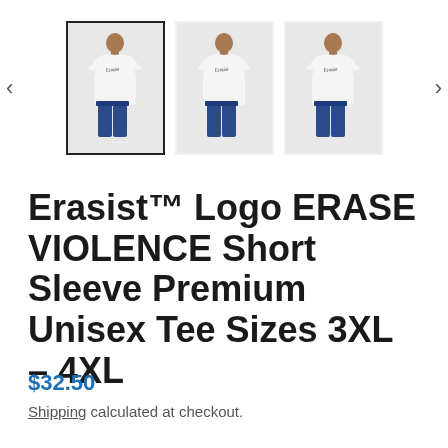[Figure (photo): Product image gallery showing a man wearing a white Erasist branded t-shirt. Three thumbnail views shown side by side with navigation arrows. First thumbnail is selected (has border). Shows front views of the shirt at slightly different angles.]
Erasist™ Logo ERASE VIOLENCE Short Sleeve Premium Unisex Tee Sizes 3XL – 4XL
$32.50
Shipping calculated at checkout.